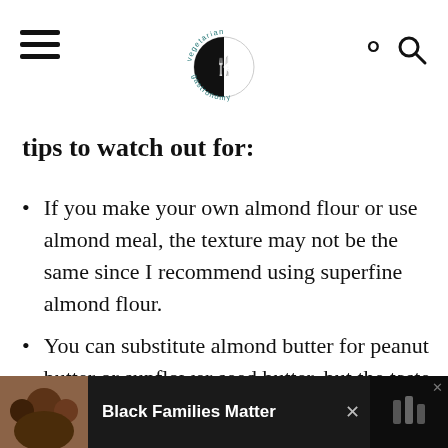vegetarian gastronomy
tips to watch out for:
If you make your own almond flour or use almond meal, the texture may not be the same since I recommend using superfine almond flour.
You can substitute almond butter for peanut butter or sunflower seed butter, but the taste will change. It'll still taste great, but both peanut
[Figure (infographic): Advertisement banner at the bottom of the page showing an image of people on the left, the text 'Black Families Matter' in white bold font on a dark background, with a close button.]